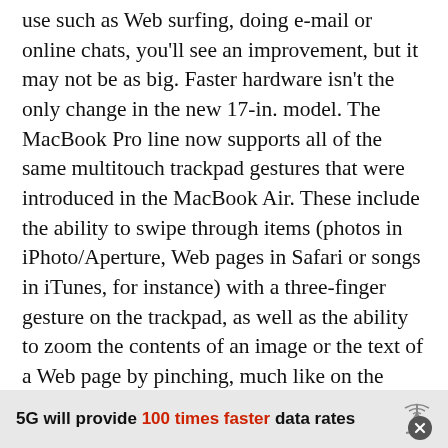use such as Web surfing, doing e-mail or online chats, you'll see an improvement, but it may not be as big. Faster hardware isn't the only change in the new 17-in. model. The MacBook Pro line now supports all of the same multitouch trackpad gestures that were introduced in the MacBook Air. These include the ability to swipe through items (photos in iPhoto/Aperture, Web pages in Safari or songs in iTunes, for instance) with a three-finger gesture on the trackpad, as well as the ability to zoom the contents of an image or the text of a Web page by pinching, much like on the iPhone or iPod Touch. In image-related applications, it also allows you to rotate images using two fingers.
5G will provide 100 times faster data rates